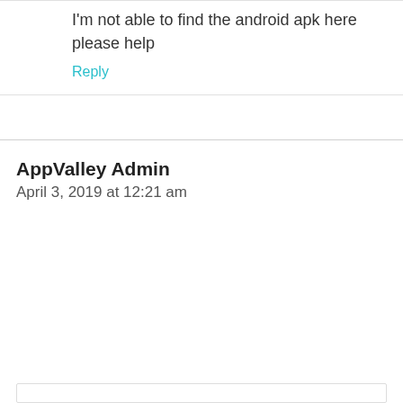I'm not able to find the android apk here please help
Reply
AppValley Admin
April 3, 2019 at 12:21 am
Hi Brock, as you read above, AppValley app for Android devices was never released officially as the developers wanted to focus all their efforts into Apple devices only. We recommend using the ACMarket App or Panda Helper app ( linked above)